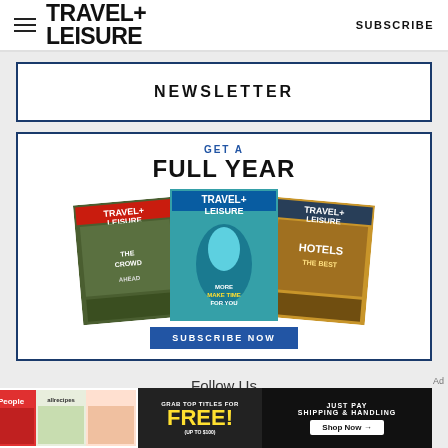TRAVEL+ LEISURE | SUBSCRIBE
NEWSLETTER
[Figure (infographic): GET A FULL YEAR - Travel+Leisure magazine subscription ad with three magazine covers and a SUBSCRIBE NOW button]
Follow Us
[Figure (infographic): Social media icons row: Facebook, Instagram, Twitter/X, Pinterest, YouTube, TikTok, and another icon]
[Figure (infographic): Advertisement banner: People, allrecipes magazines - GRAB TOP TITLES FOR FREE! (UP TO $100) JUST PAY SHIPPING & HANDLING Shop Now →]